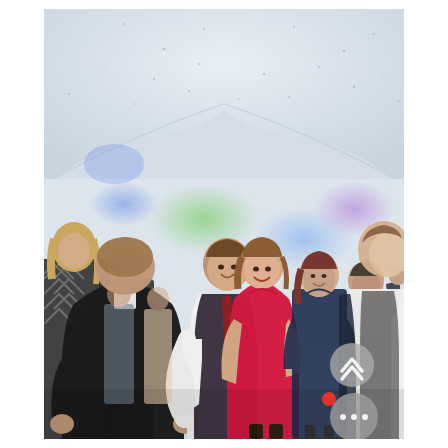[Figure (photo): Wedding reception dance floor scene inside a white marquee/tent with twinkling star lights on the ceiling and colorful LED spotlights (green, blue, purple) projected on the walls and ceiling. Multiple guests are dancing and socializing. In the center, a man in a dark waistcoat and maroon tie embraces and dances with a woman in a bright red knee-length dress. A man in a black suit is prominent on the left. A blonde woman in a patterned dress is on the far left. Other guests visible include a woman in a navy blue dress, a man in a dark shirt, and others. On the right edge, a man in a white shirt and grey waistcoat stands watching. A decorative wooden heart sign is visible in the background. On the right side of the image, overlaid UI elements are visible: a round grey scroll-up button with a chevron icon, a small red circle notification dot, and a round grey 'more options' button with three white dots.]